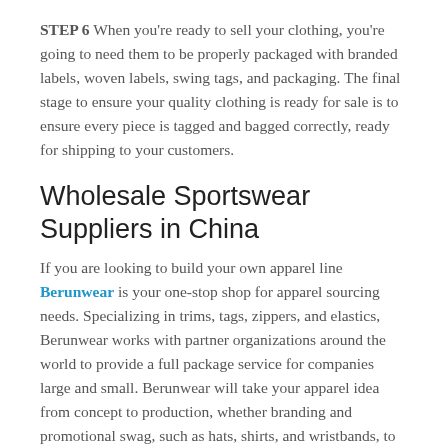STEP 6 When you're ready to sell your clothing, you're going to need them to be properly packaged with branded labels, woven labels, swing tags, and packaging. The final stage to ensure your quality clothing is ready for sale is to ensure every piece is tagged and bagged correctly, ready for shipping to your customers.
Wholesale Sportswear Suppliers in China
If you are looking to build your own apparel line Berunwear is your one-stop shop for apparel sourcing needs. Specializing in trims, tags, zippers, and elastics, Berunwear works with partner organizations around the world to provide a full package service for companies large and small. Berunwear will take your apparel idea from concept to production, whether branding and promotional swag, such as hats, shirts, and wristbands, to garments requiring added testing